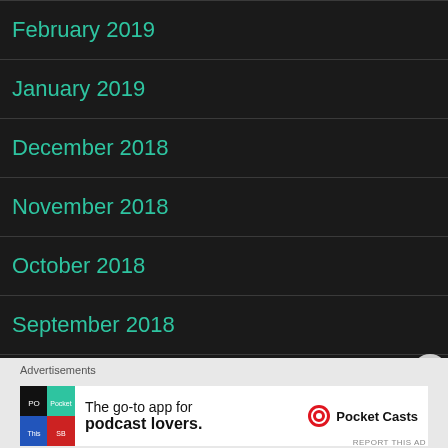February 2019
January 2019
December 2018
November 2018
October 2018
September 2018
[Figure (other): Advertisement banner for Pocket Casts app: 'The go-to app for podcast lovers.']